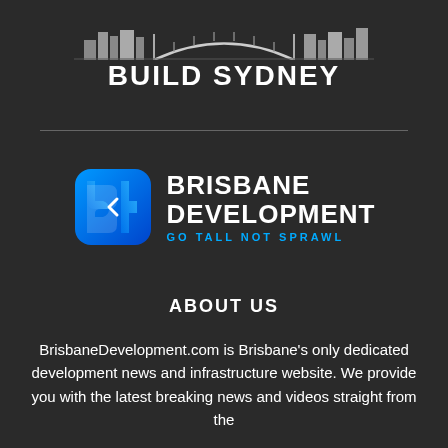[Figure (logo): Build Sydney logo with cityscape/bridge image above bold white text 'BUILD SYDNEY']
[Figure (logo): Brisbane Development logo: blue geometric 'B' icon with text 'BRISBANE DEVELOPMENT' and tagline 'GO TALL NOT SPRAWL' in cyan]
ABOUT US
BrisbaneDevelopment.com is Brisbane's only dedicated development news and infrastructure website. We provide you with the latest breaking news and videos straight from the